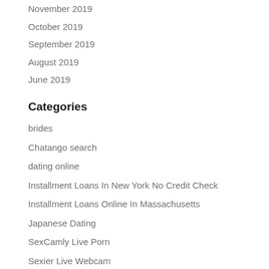November 2019
October 2019
September 2019
August 2019
June 2019
Categories
brides
Chatango search
dating online
Installment Loans In New York No Credit Check
Installment Loans Online In Massachusetts
Japanese Dating
SexCamly Live Porn
Sexier Live Webcam